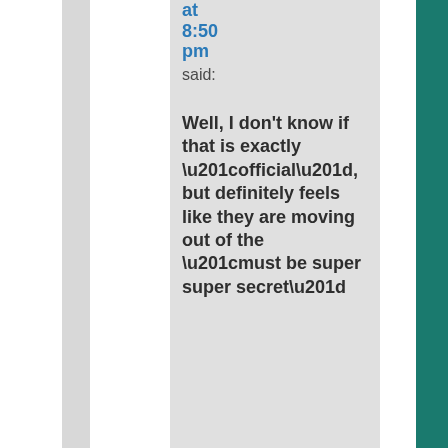at 8:50 pm said:
Well, I don't know if that is exactly “official”, but definitely feels like they are moving out of the “must be super super secret”